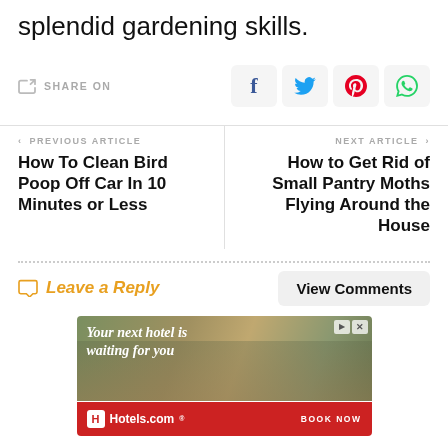splendid gardening skills.
SHARE ON
Previous Article: How To Clean Bird Poop Off Car In 10 Minutes or Less
Next Article: How to Get Rid of Small Pantry Moths Flying Around the House
Leave a Reply
View Comments
[Figure (infographic): Hotels.com advertisement banner — 'Your next hotel is waiting for you' with aerial city photo and BOOK NOW button]